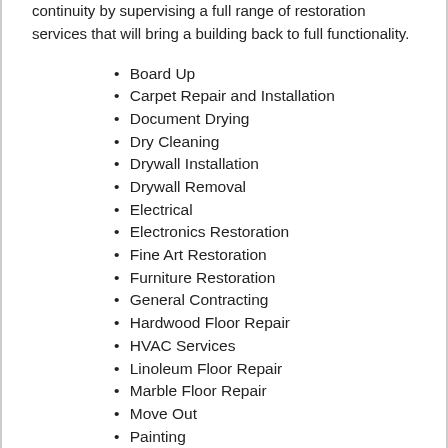continuity by supervising a full range of restoration services that will bring a building back to full functionality.
Board Up
Carpet Repair and Installation
Document Drying
Dry Cleaning
Drywall Installation
Drywall Removal
Electrical
Electronics Restoration
Fine Art Restoration
Furniture Restoration
General Contracting
Hardwood Floor Repair
HVAC Services
Linoleum Floor Repair
Marble Floor Repair
Move Out
Painting
Plumbing
Portable Power
Roof Tarp
Roofing Services